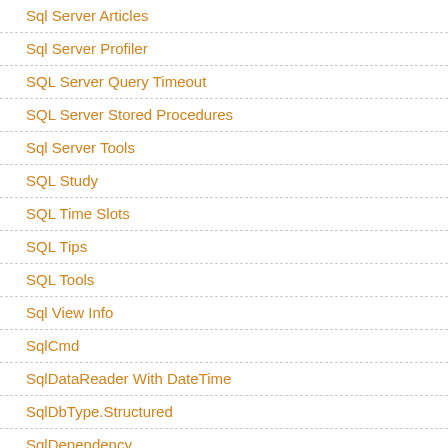Sql Server Articles
Sql Server Profiler
SQL Server Query Timeout
SQL Server Stored Procedures
Sql Server Tools
SQL Study
SQL Time Slots
SQL Tips
SQL Tools
Sql View Info
SqlCmd
SqlDataReader With DateTime
SqlDbType.Structured
SqlDependency
SqlDependency & SignalR In ASP.NET MVC